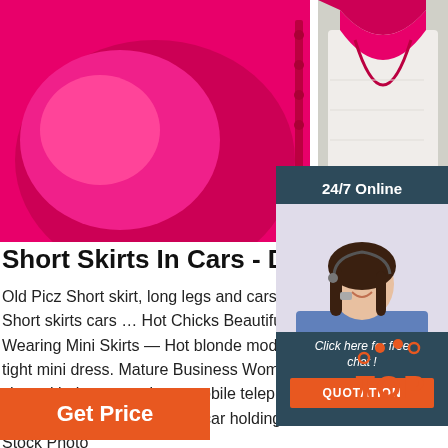[Figure (photo): Two product photos of pink/magenta garments — left shows buttons and fabric detail, right shows collar/neckline on mannequin]
Short Skirts In Cars - Dress Ala
Old Picz Short skirt, long legs and cars. P Short skirts cars … Hot Chicks Beautiful W Wearing Mini Skirts — Hot blonde model tight mini dress. Mature Business Woman short skirt in a car using a mobile telephon in short skirt getting out of a car holding a football – Stock Photo
[Figure (photo): 24/7 online chat panel showing a customer service agent with headset, 'Click here for free chat!' text and orange QUOTATION button]
[Figure (logo): Orange TOP badge with dot arc above the text]
Get Price